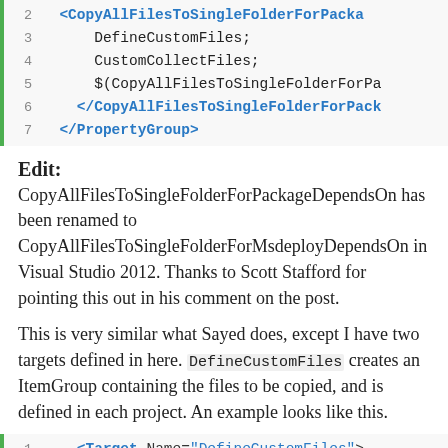[Figure (screenshot): Code block showing XML with line numbers 2-7. Lines include CopyAllFilesToSingleFolderForPackage tag, DefineCustomFiles, CustomCollectFiles, $(CopyAllFilesToSingleFolderForPa..., closing CopyAllFilesToSingleFolderForPack tag, and closing PropertyGroup tag.]
Edit:
CopyAllFilesToSingleFolderForPackageDependsOn has been renamed to CopyAllFilesToSingleFolderForMsdeployDependsOn in Visual Studio 2012. Thanks to Scott Stafford for pointing this out in his comment on the post.
This is very similar what Sayed does, except I have two targets defined in here. DefineCustomFiles creates an ItemGroup containing the files to be copied, and is defined in each project. An example looks like this.
[Figure (screenshot): Code block showing XML line 1: <Target Name="DefineCustomFiles">]